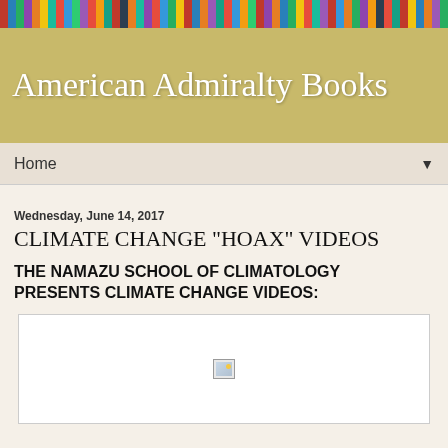[Figure (screenshot): Colorful book spines on a bookshelf header image]
American Admiralty Books
Home ▼
Wednesday, June 14, 2017
CLIMATE CHANGE "HOAX" VIDEOS
THE NAMAZU SCHOOL OF CLIMATOLOGY PRESENTS CLIMATE CHANGE VIDEOS:
[Figure (other): Broken/loading video embed placeholder box]